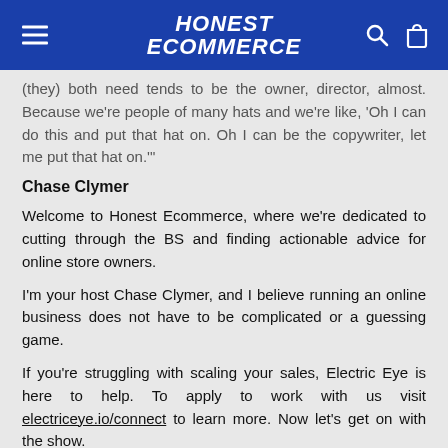HONEST ECOMMERCE
(they) both need tends to be the owner, director, almost. Because we're people of many hats and we're like, 'Oh I can do this and put that hat on. Oh I can be the copywriter, let me put that hat on.'"
Chase Clymer
Welcome to Honest Ecommerce, where we're dedicated to cutting through the BS and finding actionable advice for online store owners.
I'm your host Chase Clymer, and I believe running an online business does not have to be complicated or a guessing game.
If you're struggling with scaling your sales, Electric Eye is here to help. To apply to work with us visit electriceye.io/connect to learn more. Now let's get on with the show.